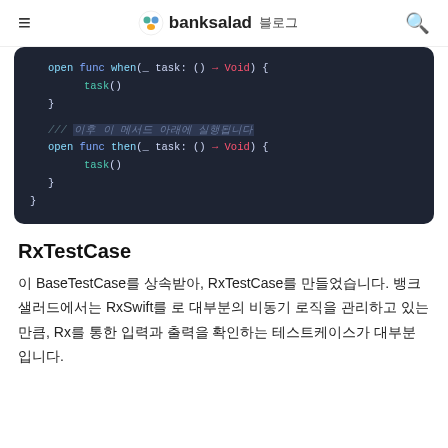banksalad 블로그
[Figure (screenshot): Code block showing Swift protocol definition with 'open func when(_ task: () -> Void)' and 'open func then(_ task: () -> Void)' methods on a dark background]
RxTestCase
이 BaseTestCase를 상속받아, RxTestCase를 만들었습니다. 뱅크샐러드에서는 RxSwift를 로 대부분의 비동기 로직을 관리하고 있는 만큼, Rx를 통한 입력과 출력을 확인하는 테스트케이스가 대부분입니다.